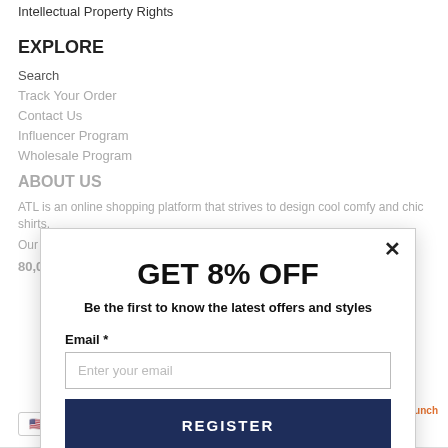Intellectual Property Rights
EXPLORE
Search
Track Your Order
Contact Us
Influencer Program
Wholesale Program
ABOUT US
ATL is an online shopping platform that strives to design cool comfy and chic shirts.
Our mission: Every Day Is A Holiday!
80,000+ Happy Customers
[Figure (screenshot): Email capture modal popup with GET 8% OFF headline, email input, and REGISTER button]
powered by MailMunch